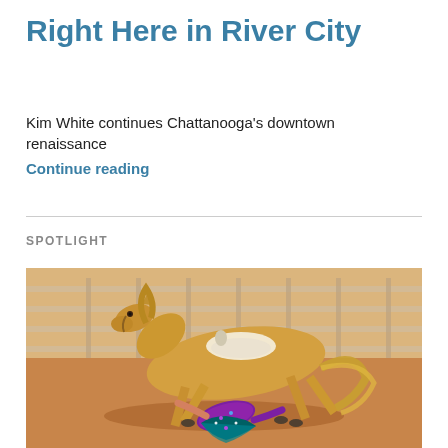Right Here in River City
Kim White continues Chattanooga's downtown renaissance
Continue reading
SPOTLIGHT
[Figure (photo): A palomino horse galloping in an arena with a performer in a sparkly purple costume beneath it, in a rodeo or trick riding performance.]